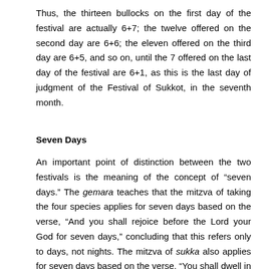Thus, the thirteen bullocks on the first day of the festival are actually 6+7; the twelve offered on the second day are 6+6; the eleven offered on the third day are 6+5, and so on, until the 7 offered on the last day of the festival are 6+1, as this is the last day of judgment of the Festival of Sukkot, in the seventh month.
Seven Days
An important point of distinction between the two festivals is the meaning of the concept of “seven days.” The gemara teaches that the mitzva of taking the four species applies for seven days based on the verse, “And you shall rejoice before the Lord your God for seven days,” concluding that this refers only to days, not nights. The mitzva of sukka also applies for seven days based on the verse, “You shall dwell in sukkot for